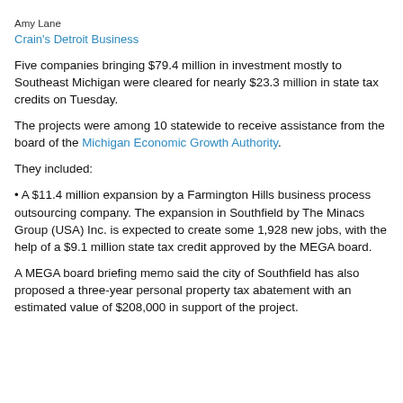Amy Lane
Crain's Detroit Business
Five companies bringing $79.4 million in investment mostly to Southeast Michigan were cleared for nearly $23.3 million in state tax credits on Tuesday.
The projects were among 10 statewide to receive assistance from the board of the Michigan Economic Growth Authority.
They included:
A $11.4 million expansion by a Farmington Hills business process outsourcing company. The expansion in Southfield by The Minacs Group (USA) Inc. is expected to create some 1,928 new jobs, with the help of a $9.1 million state tax credit approved by the MEGA board.
A MEGA board briefing memo said the city of Southfield has also proposed a three-year personal property tax abatement with an estimated value of $208,000 in support of the project.